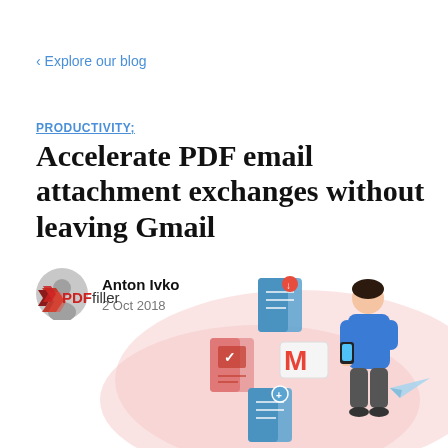< Explore our blog
PRODUCTIVITY:
Accelerate PDF email attachment exchanges without leaving Gmail
Anton Ivko
2 Oct 2018
[Figure (illustration): PDFfiller logo with an illustration of a person using a smartphone, surrounded by floating PDF and Gmail document icons on a pink background shape]